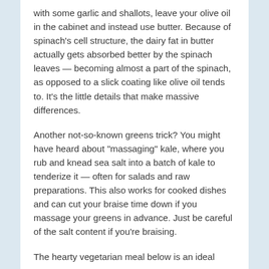with some garlic and shallots, leave your olive oil in the cabinet and instead use butter. Because of spinach's cell structure, the dairy fat in butter actually gets absorbed better by the spinach leaves — becoming almost a part of the spinach, as opposed to a slick coating like olive oil tends to. It's the little details that make massive differences.
Another not-so-known greens trick? You might have heard about "massaging" kale, where you rub and knead sea salt into a batch of kale to tenderize it — often for salads and raw preparations. This also works for cooked dishes and can cut your braise time down if you massage your greens in advance. Just be careful of the salt content if you're braising.
The hearty vegetarian meal below is an ideal